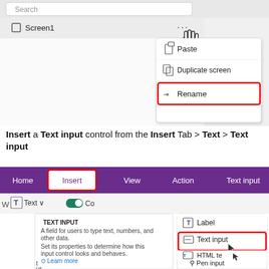[Figure (screenshot): Screenshot of a UI showing a context menu with options: Paste, Duplicate screen, and Rename (highlighted with a red box). A hand cursor is hovering over the '...' button next to 'Screen1' in a panel.]
Insert a Text input control from the Insert Tab > Text > Text input
[Figure (screenshot): Screenshot of a PowerApps interface showing the Insert tab selected (highlighted with red box), with a dropdown menu showing Text > Text input (highlighted with red box). A tooltip panel on the left shows 'TEXT INPUT' description, Learn more and Examples links. The menu also shows Label, HTML text, and Pen input options.]